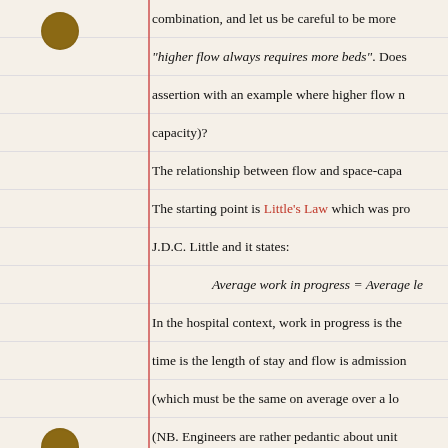combination, and let us be careful to be more precise than "higher flow always requires more beds". Does someone want to challenge this assertion with an example where higher flow means less beds (less capacity)?
The relationship between flow and space-capacity...
The starting point is Little's Law which was proved by J.D.C. Little and it states:
In the hospital context, work in progress is the number of patients, lead time is the length of stay and flow is admissions per unit time (which must be the same on average over a long period).
(NB. Engineers are rather pedantic about units, and this makes sense: the unit of WIP is 'patients', the unit of lead time is 'days', flow is 'patients per day' so 'patients' = 'days' × 'patients per day'. Verified. Tick.)
So, is there a situation where flow can increase and WIP decrease? When lead time decreases, Little's Law says that...